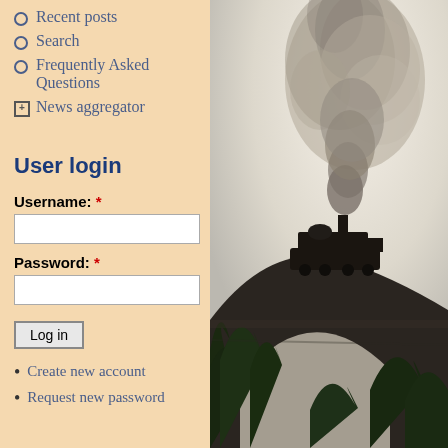Recent posts
Search
Frequently Asked Questions
News aggregator
User login
Username: *
Password: *
Log in
Create new account
Request new password
[Figure (photo): Steam locomotive crossing a stone arch bridge viaduct, emitting dark smoke against a pale sky, with trees in the foreground]